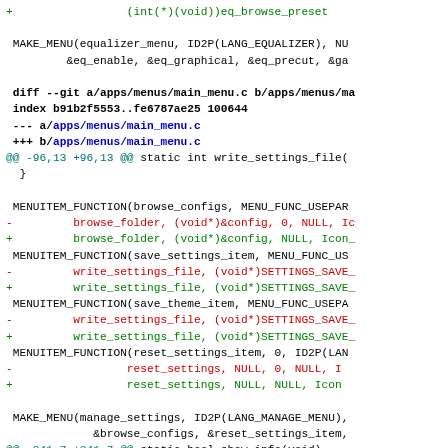[Figure (screenshot): Source code diff showing changes to main_menu.c and equalizer menu files in a git diff format, with added lines in green (+), removed lines in red (-), context lines in black, and file headers in bold/blue.]